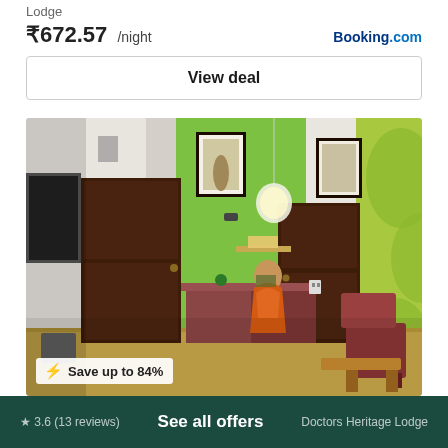Lodge
₹672.57 /night
Booking.com
View deal
[Figure (photo): Interior photo of a lodge reception area showing a woman in orange saree standing behind a reception desk, with dark brown doors, green accent wall, decorative paintings, pendant light, and chairs visible.]
Save up to 84%
3.6 (13 reviews)
See all offers
Doctors Heritage Lodge